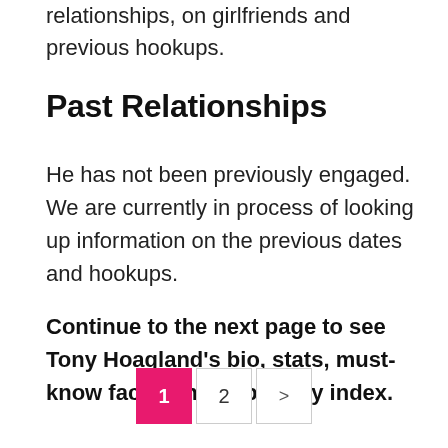relationships, on girlfriends and previous hookups.
Past Relationships
He has not been previously engaged. We are currently in process of looking up information on the previous dates and hookups.
Continue to the next page to see Tony Hoagland's bio, stats, must-know facts, and populartiy index.
1  2  >